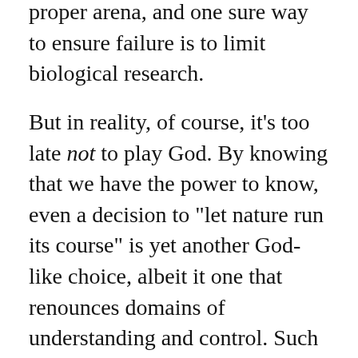proper arena, and one sure way to ensure failure is to limit biological research.
But in reality, of course, it's too late not to play God. By knowing that we have the power to know, even a decision to "let nature run its course" is yet another God-like choice, albeit it one that renounces domains of understanding and control. Such a choice would make us a God of the Deists, a passive onlooker of unfolding creation, rather than an active participant in shaping our destiny.